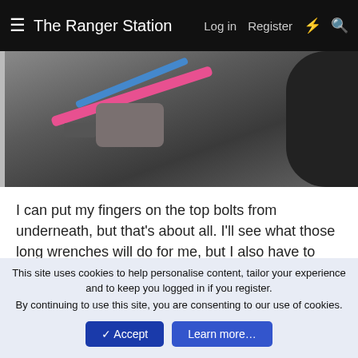The Ranger Station   Log in   Register
[Figure (photo): Close-up photo of an engine or mechanical area, showing a pink wire and a blue wire running diagonally, with a metal bolt/bracket area visible, and dark mechanical components on the right.]
I can put my fingers on the top bolts from underneath, but that's about all. I'll see what those long wrenches will do for me, but I also have to consider....how the heck I'm going to put it back together.
alwaysFlOoReD
Forum Staff Member  Forum Moderator  TRS Banner 2012-2015  TRS 20th Anniversary
Jul 18, 2021
This site uses cookies to help personalise content, tailor your experience and to keep you logged in if you register.
By continuing to use this site, you are consenting to our use of cookies.